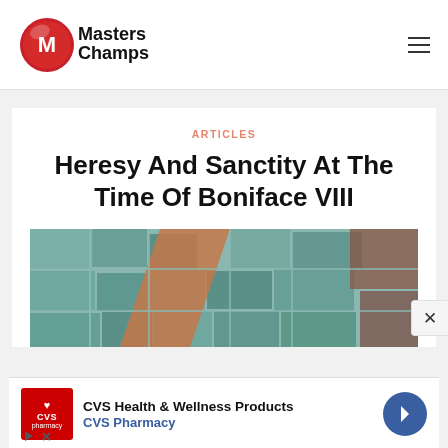MastersChamps
ARTICLES
Heresy And Sanctity At The Time Of Boniface VIII
[Figure (photo): Partial view of a mosaic or stained glass artwork with teal, brown, and black colors]
[Figure (other): CVS Health & Wellness Products advertisement banner with CVS Pharmacy logo and navigation arrow]
CVS Health & Wellness Products CVS Pharmacy